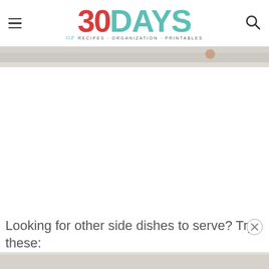30 DAYS of RECIPES · ORGANIZATION · PRINTABLES
[Figure (photo): Partial food photo strip at top of page]
Looking for other side dishes to serve? Try these:
[Figure (photo): Bottom image strip partially visible]